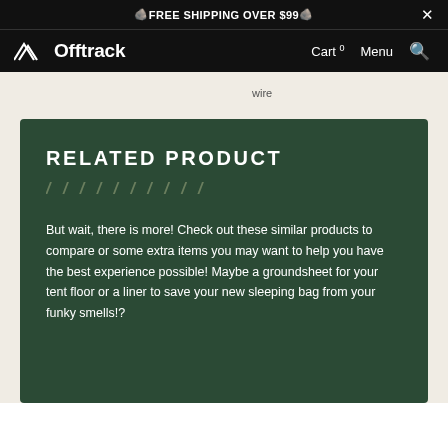🪨 FREE SHIPPING OVER $99 🪨
Offtrack  Cart 0  Menu 🔍
wire
RELATED PRODUCT
But wait, there is more! Check out these similar products to compare or some extra items you may want to help you have the best experience possible! Maybe a groundsheet for your tent floor or a liner to save your new sleeping bag from your funky smells!?